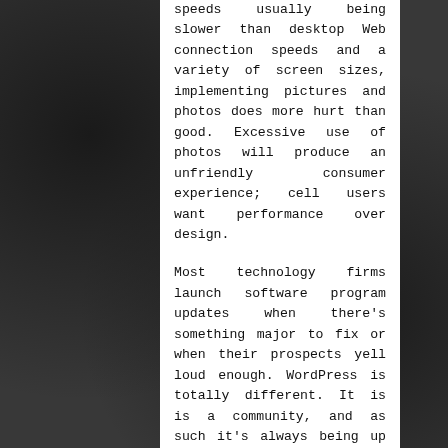speeds usually being slower than desktop Web connection speeds and a variety of screen sizes, implementing pictures and photos does more hurt than good. Excessive use of photos will produce an unfriendly consumer experience; cell users want performance over design.

Most technology firms launch software program updates when there's something major to fix or when their prospects yell loud enough. WordPress is totally different. It is is a community, and as such it's always being up to date and improved, often releasing updates quarterly, or no less than as often as you need to keep your ...